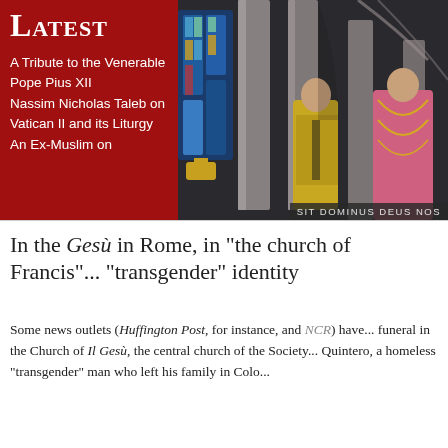Latest
A Tribute to the Venerable Pope Pius XII
Nassim Nicholas Taleb on Vatican II and its Liturgy
An Ex-Muslim on
[Figure (photo): Clergy in ornate robes inside a grand cathedral with tall stone columns and stained glass windows. Overlay text: SIT DOMINUS DEUS NOS]
In the Gesù in Rome, in "the church of Francis" ... "transgender" identity
Some news outlets (Huffington Post, for instance, and NCR) have ... funeral in the Church of Il Gesù, the central church of the Society ... Quintero, a homeless "transgender" man who left his family in Colo